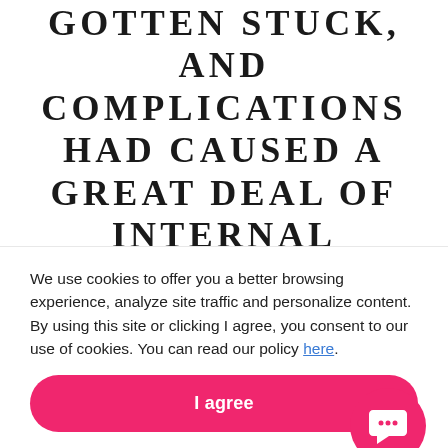GOTTEN STUCK, AND COMPLICATIONS HAD CAUSED A GREAT DEAL OF INTERNAL BLEEDING. THEY HAD ME PUT ON A SURGICAL GOWN AND MASK SO I COULD BE IN THERE WITH THEM. I NEVER REALLY SAW WHAT WENT ON BEHIND THE SURGICAL CURTAIN. I WAS SCARED TO DEATH FOR BOTH
[Figure (other): Pink circular chat/comment button icon with speech bubble icon in white, positioned at right side overlapping main text]
We use cookies to offer you a better browsing experience, analyze site traffic and personalize content. By using this site or clicking I agree, you consent to our use of cookies. You can read our policy here.